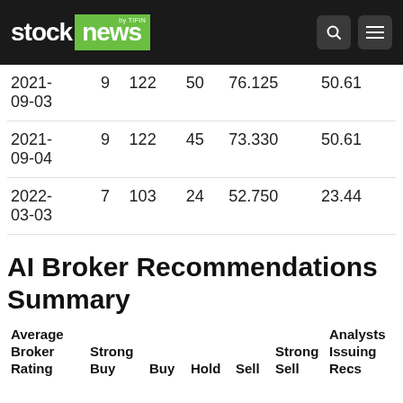stock news by TIFIN
| Date |  |  |  |  |  |
| --- | --- | --- | --- | --- | --- |
| 2021-09-03 | 9 | 122 | 50 | 76.125 | 50.61 |
| 2021-09-04 | 9 | 122 | 45 | 73.330 | 50.61 |
| 2022-03-03 | 7 | 103 | 24 | 52.750 | 23.44 |
AI Broker Recommendations Summary
| Average Broker Rating | Strong Buy | Buy | Hold | Sell | Strong Sell | Analysts Issuing Recs |
| --- | --- | --- | --- | --- | --- | --- |